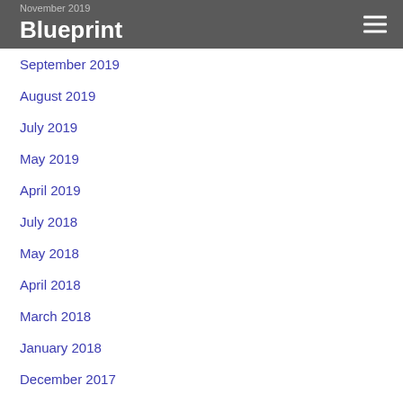Blueprint
November 2019
September 2019
August 2019
July 2019
May 2019
April 2019
July 2018
May 2018
April 2018
March 2018
January 2018
December 2017
November 2017
September 2017